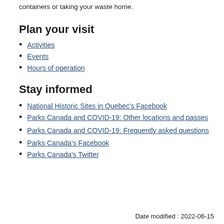containers or taking your waste home.
Plan your visit
Activities
Events
Hours of operation
Stay informed
National Historic Sites in Quebec's Facebook
Parks Canada and COVID-19: Other locations and passes
Parks Canada and COVID-19: Frequently asked questions
Parks Canada's Facebook
Parks Canada's Twitter
Date modified : 2022-06-15